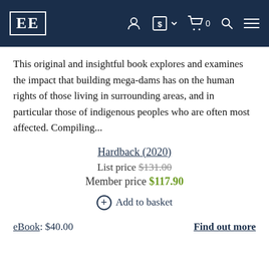EE [logo navigation bar with user, currency, cart, search, menu icons]
This original and insightful book explores and examines the impact that building mega-dams has on the human rights of those living in surrounding areas, and in particular those of indigenous peoples who are often most affected. Compiling...
Hardback (2020)
List price $131.00
Member price $117.90
⊕ Add to basket
eBook: $40.00
Find out more